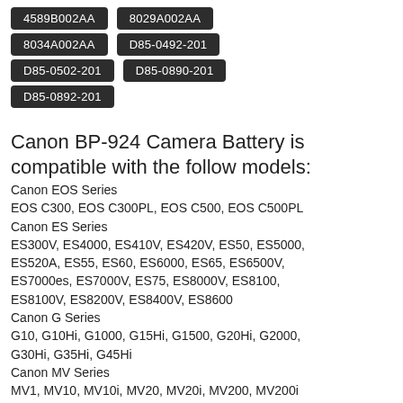4589B002AA
8029A002AA
8034A002AA
D85-0492-201
D85-0502-201
D85-0890-201
D85-0892-201
Canon BP-924 Camera Battery is compatible with the follow models:
Canon EOS Series
EOS C300, EOS C300PL, EOS C500, EOS C500PL
Canon ES Series
ES300V, ES4000, ES410V, ES420V, ES50, ES5000, ES520A, ES55, ES60, ES6000, ES65, ES6500V, ES7000es, ES7000V, ES75, ES8000V, ES8100, ES8100V, ES8200V, ES8400V, ES8600
Canon G Series
G10, G10Hi, G1000, G15Hi, G1500, G20Hi, G2000, G30Hi, G35Hi, G45Hi
Canon MV Series
MV1, MV10, MV10i, MV20, MV20i, MV200, MV200i
Canon UCV Series